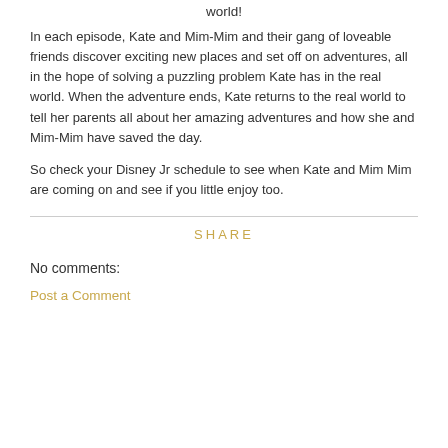world!
In each episode, Kate and Mim-Mim and their gang of loveable friends discover exciting new places and set off on adventures, all in the hope of solving a puzzling problem Kate has in the real world. When the adventure ends, Kate returns to the real world to tell her parents all about her amazing adventures and how she and Mim-Mim have saved the day.
So check your Disney Jr schedule to see when Kate and Mim Mim are coming on and see if you little enjoy too.
SHARE
No comments:
Post a Comment